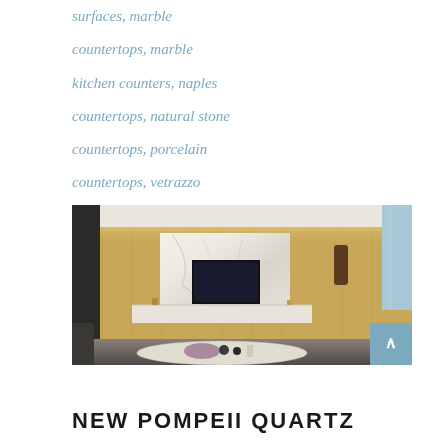surfaces, marble
countertops, marble
kitchen counters, naples
countertops, natural stone
countertops, porcelain
countertops, vetrazzo
countertops florida
[Figure (photo): Modern living room interior with wood panel wall, marble TV feature wall, mounted flat-screen TV, white TV cabinet, coffee table with decorative items, dark curtains on left, and window view on right]
NEW POMPEII QUARTZ